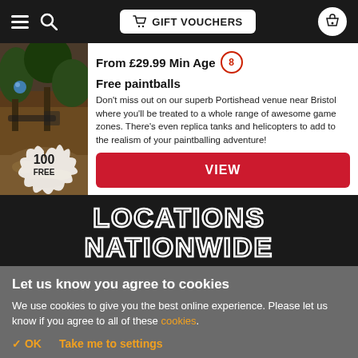GIFT VOUCHERS
From £29.99 Min Age 8
Free paintballs
Don't miss out on our superb Portishead venue near Bristol where you'll be treated to a whole range of awesome game zones. There's even replica tanks and helicopters to add to the realism of your paintballing adventure!
VIEW
LOCATIONS NATIONWIDE
OVER 100 LOCATIONS
Let us know you agree to cookies
We use cookies to give you the best online experience. Please let us know if you agree to all of these cookies.
✓ OK
Take me to settings